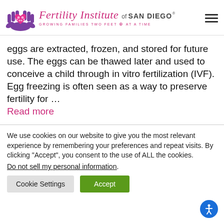[Figure (logo): Fertility Institute of San Diego logo with hands and heart graphic, tagline: GROWING FAMILIES TWO FEET AT A TIME]
eggs are extracted, frozen, and stored for future use. The eggs can be thawed later and used to conceive a child through in vitro fertilization (IVF). Egg freezing is often seen as a way to preserve fertility for ... Read more
We use cookies on our website to give you the most relevant experience by remembering your preferences and repeat visits. By clicking "Accept", you consent to the use of ALL the cookies. Do not sell my personal information.